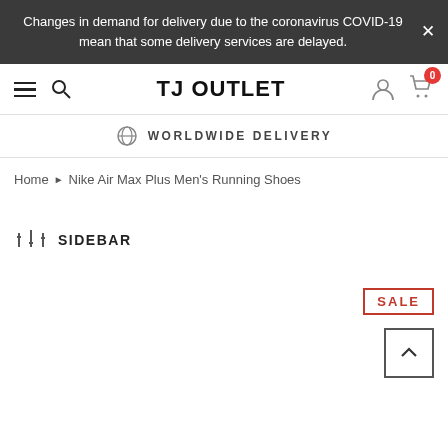Changes in demand for delivery due to the coronavirus COVID-19 mean that some delivery services are delayed.
TJ OUTLET
WORLDWIDE DELIVERY
Home › Nike Air Max Plus Men's Running Shoes
SIDEBAR
SALE
[Figure (other): Back to top button with upward caret arrow]